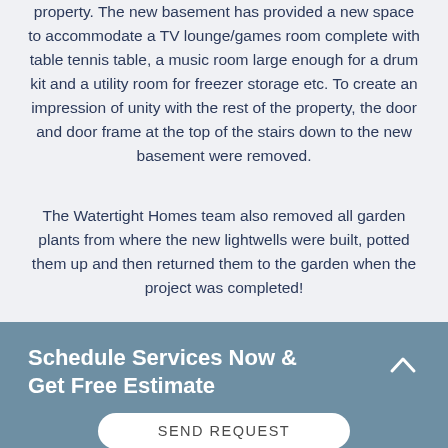property. The new basement has provided a new space to accommodate a TV lounge/games room complete with table tennis table, a music room large enough for a drum kit and a utility room for freezer storage etc. To create an impression of unity with the rest of the property, the door and door frame at the top of the stairs down to the new basement were removed.
The Watertight Homes team also removed all garden plants from where the new lightwells were built, potted them up and then returned them to the garden when the project was completed!
Schedule Services Now & Get Free Estimate
SEND REQUEST